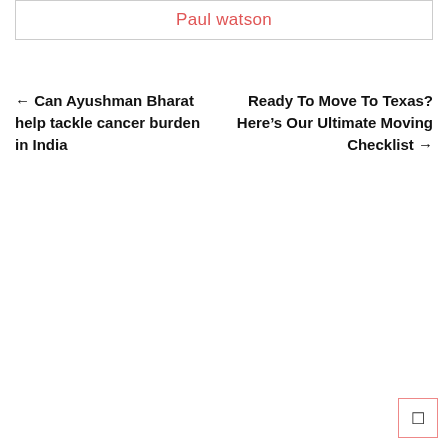Paul watson
← Can Ayushman Bharat help tackle cancer burden in India
Ready To Move To Texas? Here's Our Ultimate Moving Checklist →